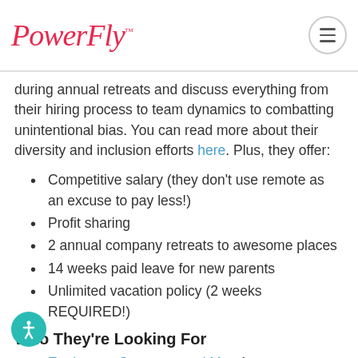PowerFly™
during annual retreats and discuss everything from their hiring process to team dynamics to combatting unintentional bias. You can read more about their diversity and inclusion efforts here. Plus, they offer:
Competitive salary (they don't use remote as an excuse to pay less!)
Profit sharing
2 annual company retreats to awesome places
14 weeks paid leave for new parents
Unlimited vacation policy (2 weeks REQUIRED!)
Who They're Looking For
Engineers, Sourcers, and More!
astic (distributed by design)